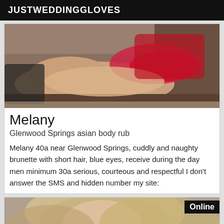JUSTWEDDINGGLOVES
[Figure (photo): Woman in red lingerie lying on a surface, cropped image]
Melany
Glenwood Springs asian body rub
Melany 40a near Glenwood Springs, cuddly and naughty brunette with short hair, blue eyes, receive during the day men minimum 30a serious, courteous and respectful I don't answer the SMS and hidden number my site:
[Figure (photo): Blonde woman close-up portrait photo with Online badge]